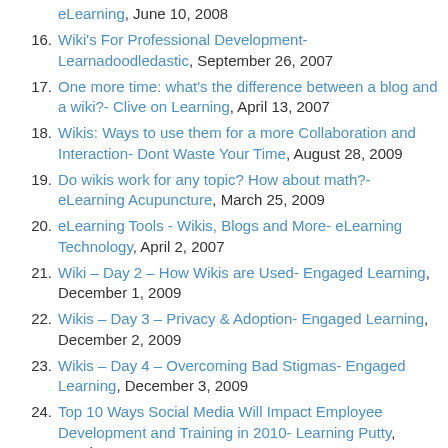eLearning, June 10, 2008
Wiki's For Professional Development- Learnadoodledastic, September 26, 2007
One more time: what's the difference between a blog and a wiki?- Clive on Learning, April 13, 2007
Wikis: Ways to use them for a more Collaboration and Interaction- Dont Waste Your Time, August 28, 2009
Do wikis work for any topic? How about math?- eLearning Acupuncture, March 25, 2009
eLearning Tools - Wikis, Blogs and More- eLearning Technology, April 2, 2007
Wiki – Day 2 – How Wikis are Used- Engaged Learning, December 1, 2009
Wikis – Day 3 – Privacy & Adoption- Engaged Learning, December 2, 2009
Wikis – Day 4 – Overcoming Bad Stigmas- Engaged Learning, December 3, 2009
Top 10 Ways Social Media Will Impact Employee Development and Training in 2010- Learning Putty, October 29, 2009